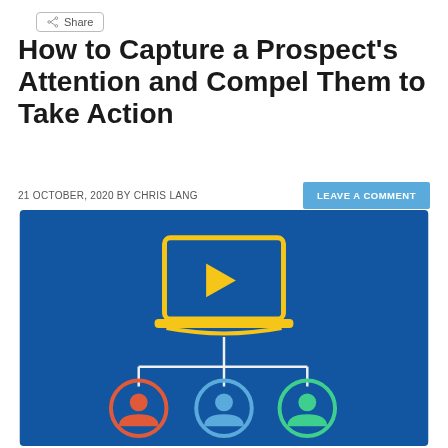Share
How to Capture a Prospect's Attention and Compel Them to Take Action
21 OCTOBER, 2020 BY CHRIS LANG
LEAVE A COMMENT
[Figure (illustration): Dark blue background illustration showing a laptop with a yellow play button icon connected by lines to three user avatar icons in red, blue, and green circles below it.]